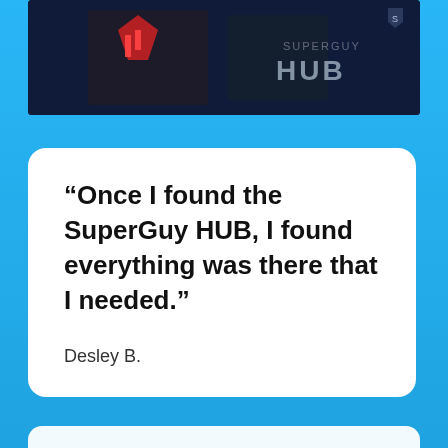[Figure (photo): Dark background image with a person and text reading 'HUB' on the right side, with a logo in the upper right corner]
“Once I found the SuperGuy HUB, I found everything was there that I needed.”
Desley B.